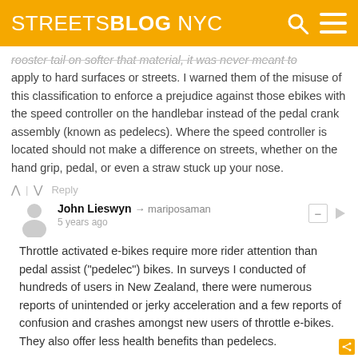STREETSBLOG NYC
rooster tail on softer that material, it was never meant to apply to hard surfaces or streets. I warned them of the misuse of this classification to enforce a prejudice against those ebikes with the speed controller on the handlebar instead of the pedal crank assembly (known as pedelecs). Where the speed controller is located should not make a difference on streets, whether on the hand grip, pedal, or even a straw stuck up your nose.
Reply
John Lieswyn → mariposaman
5 years ago
Throttle activated e-bikes require more rider attention than pedal assist ("pedelec") bikes. In surveys I conducted of hundreds of users in New Zealand, there were numerous reports of unintended or jerky acceleration and a few reports of confusion and crashes amongst new users of throttle e-bikes. They also offer less health benefits than pedelecs.